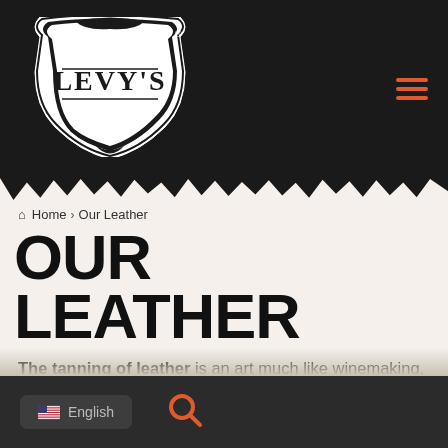[Figure (logo): Levy's leather brand logo — white shield-shaped badge with ornate border on dark background, text LEVY'S in bold serif]
Home > Our Leather
OUR LEATHER
The tanning of leather is an art much like winemaking, and as such, there are slight variations in color and texture from dye-lot to dye-lot, from hide to hide, and
English